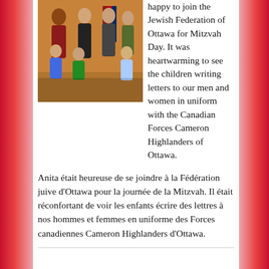[Figure (photo): Group photo of several adults and children indoors, with Canadian and other flags visible in the background, taken at a community event.]
happy to join the Jewish Federation of Ottawa for Mitzvah Day. It was heartwarming to see the children writing letters to our men and women in uniform with the Canadian Forces Cameron Highlanders of Ottawa.
Anita était heureuse de se joindre à la Fédération juive d'Ottawa pour la journée de la Mitzvah. Il était réconfortant de voir les enfants écrire des lettres à nos hommes et femmes en uniforme des Forces canadiennes Cameron Highlanders d'Ottawa.